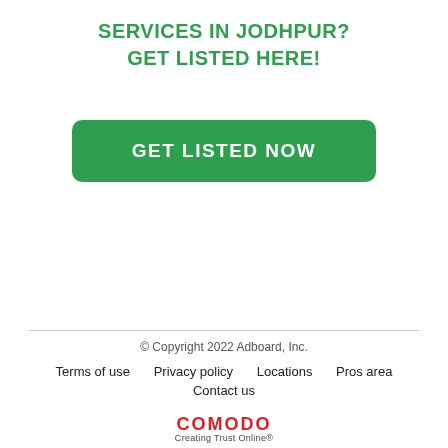SERVICES IN JODHPUR?
GET LISTED HERE!
[Figure (other): Green rounded button with white bold text reading GET LISTED NOW]
© Copyright 2022 Adboard, Inc.
Terms of use   Privacy policy   Locations   Pros area
Contact us
COMODO Creating Trust Online®